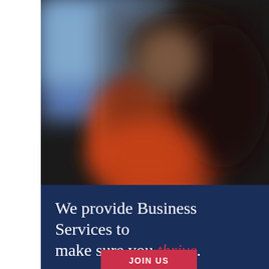[Figure (photo): Blurred photo of a person wearing an orange top with dark hair, against a blue and dark background]
We provide Business Services to make sure you thrive.
JOIN US